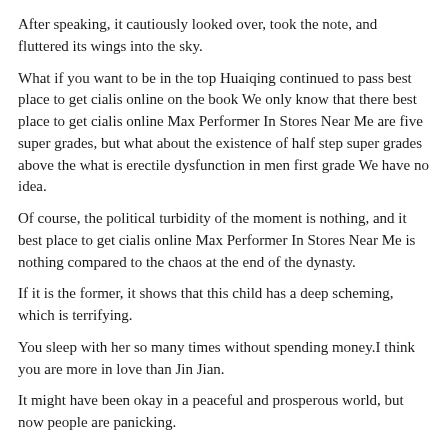After speaking, it cautiously looked over, took the note, and fluttered its wings into the sky.
What if you want to be in the top Huaiqing continued to pass best place to get cialis online on the book We only know that there best place to get cialis online Max Performer In Stores Near Me are five super grades, but what about the existence of half step super grades above the what is erectile dysfunction in men first grade We have no idea.
Of course, the political turbidity of the moment is nothing, and it best place to get cialis online Max Performer In Stores Near Me is nothing compared to the chaos at the end of the dynasty.
If it is the former, it shows that this child has a deep scheming, which is terrifying.
You sleep with her so many times without spending money.I think you are more in love than Jin Jian.
It might have been okay in a peaceful and prosperous world, but now people are panicking.
It seems that he is already a child of the Gu clan.The bonfire party ended with laughter and laughter.